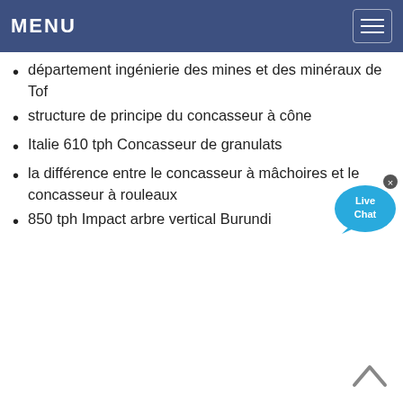MENU
département ingénierie des mines et des minéraux de Tof
structure de principe du concasseur à cône
Italie 610 tph Concasseur de granulats
la différence entre le concasseur à mâchoires et le concasseur à rouleaux
850 tph Impact arbre vertical Burundi
[Figure (illustration): Live Chat bubble icon with blue speech bubble and 'Live Chat' text, with a close (×) button in the top right corner]
[Figure (illustration): Back to top chevron/caret arrow pointing upward]